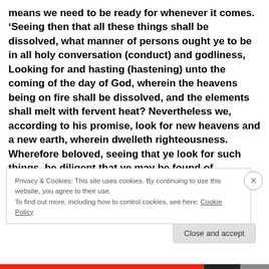means we need to be ready for whenever it comes. 'Seeing then that all these things shall be dissolved, what manner of persons ought ye to be in all holy conversation (conduct) and godliness, Looking for and hasting (hastening) unto the coming of the day of God, wherein the heavens being on fire shall be dissolved, and the elements shall melt with fervent heat? Nevertheless we, according to his promise, look for new heavens and a new earth, wherein dwelleth righteousness. Wherefore beloved, seeing that ye look for such things, be diligent that ye may be found of
Privacy & Cookies: This site uses cookies. By continuing to use this website, you agree to their use.
To find out more, including how to control cookies, see here: Cookie Policy
Close and accept